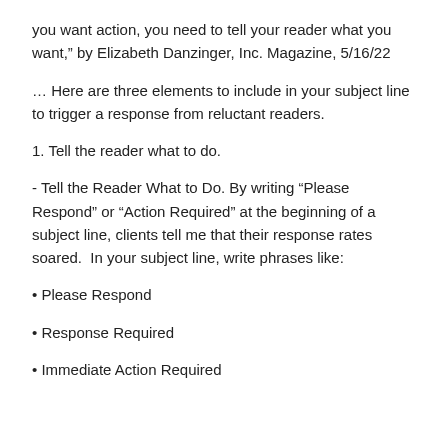you want action, you need to tell your reader what you want,” by Elizabeth Danzinger, Inc. Magazine, 5/16/22
… Here are three elements to include in your subject line to trigger a response from reluctant readers.
1. Tell the reader what to do.
- Tell the Reader What to Do. By writing “Please Respond” or “Action Required” at the beginning of a subject line, clients tell me that their response rates soared.  In your subject line, write phrases like:
• Please Respond
• Response Required
• Immediate Action Required